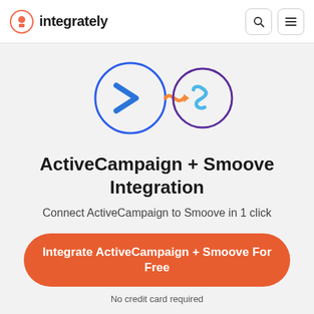integrately
[Figure (logo): ActiveCampaign logo (blue circle with chevron/arrow) connected to Smoove logo (purple circle with S-curve) via orange connector icon]
ActiveCampaign + Smoove Integration
Connect ActiveCampaign to Smoove in 1 click
Integrate ActiveCampaign + Smoove For Free
No credit card required